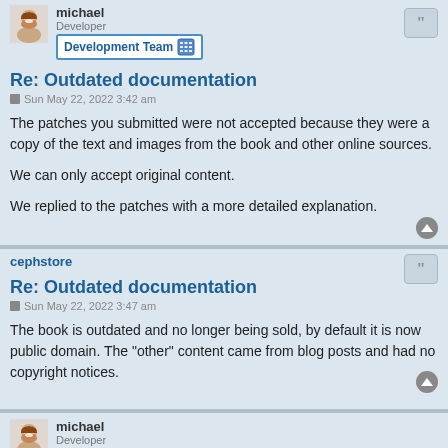michael
Developer
Development Team
Re: Outdated documentation
Sun May 22, 2022 3:42 am
The patches you submitted were not accepted because they were a copy of the text and images from the book and other online sources.

We can only accept original content.

We replied to the patches with a more detailed explanation.
cephstore
Re: Outdated documentation
Sun May 22, 2022 3:47 am
The book is outdated and no longer being sold, by default it is now public domain. The "other" content came from blog posts and had no copyright notices.
michael
Developer